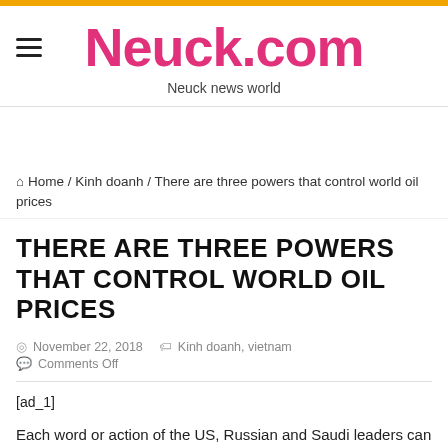Neuck.com — Neuck news world
Home / Kinh doanh / There are three powers that control world oil prices
THERE ARE THREE POWERS THAT CONTROL WORLD OIL PRICES
November 22, 2018   Kinh doanh, vietnam
Comments Off
[ad_1]
Each word or action of the US, Russian and Saudi leaders can prove how raw oil is.